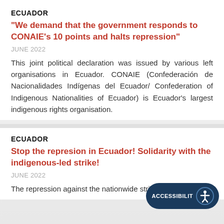ECUADOR
“We demand that the government responds to CONAIE’s 10 points and halts repression”
JUNE 2022
This joint political declaration was issued by various left organisations in Ecuador. CONAIE (Confederación de Nacionalidades Indígenas del Ecuador/ Confederation of Indigenous Nationalities of Ecuador) is Ecuador’s largest indigenous rights organisation.
ECUADOR
Stop the represion in Ecuador! Solidarity with the indigenous-led strike!
JUNE 2022
The repression against the nationwide strike ca...